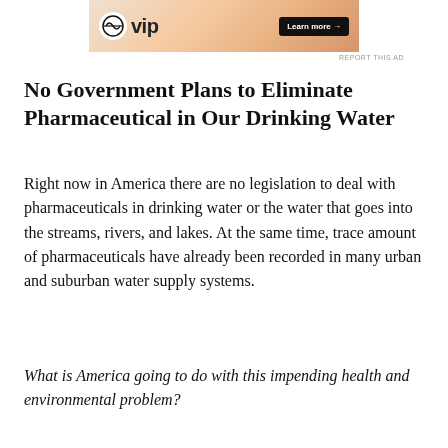[Figure (other): Advertisement banner for WordPress VIP with a 'Learn more' button on an orange gradient background]
No Government Plans to Eliminate Pharmaceutical in Our Drinking Water
Right now in America there are no legislation to deal with pharmaceuticals in drinking water or the water that goes into the streams, rivers, and lakes. At the same time, trace amount of pharmaceuticals have already been recorded in many urban and suburban water supply systems.
What is America going to do with this impending health and environmental problem?